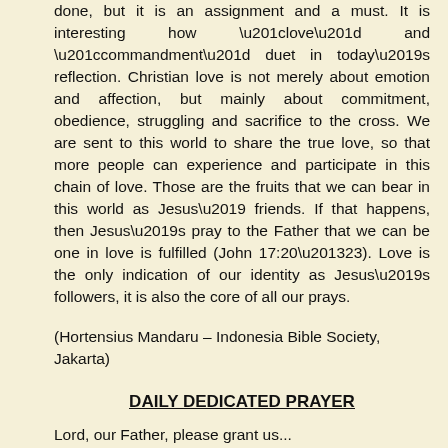done, but it is an assignment and a must. It is interesting how “love” and “commandment” duet in today’s reflection. Christian love is not merely about emotion and affection, but mainly about commitment, obedience, struggling and sacrifice to the cross. We are sent to this world to share the true love, so that more people can experience and participate in this chain of love. Those are the fruits that we can bear in this world as Jesus’ friends. If that happens, then Jesus’s pray to the Father that we can be one in love is fulfilled (John 17:20–23). Love is the only indication of our identity as Jesus’s followers, it is also the core of all our prays.
(Hortensius Mandaru – Indonesia Bible Society, Jakarta)
DAILY DEDICATED PRAYER
Lord, our Father, please grant us...